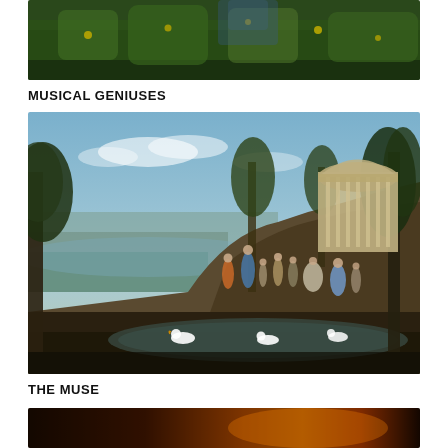[Figure (photo): Close-up photo of lush green grass and small yellow flowers with a blurred figure in a blue dress in the background]
MUSICAL GENIUSES
[Figure (illustration): Classical landscape painting depicting Apollo and the Muses on a rocky hillside with a circular temple in the background, swans in a pond in the foreground, and a wide pastoral vista stretching to the horizon]
THE MUSE
[Figure (photo): Partially visible dark photo at the bottom of the page showing a warm orange-toned scene]